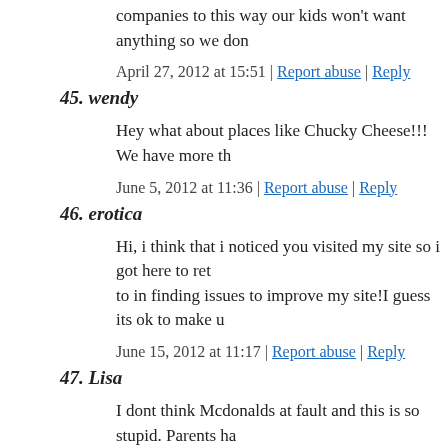companies to this way our kids won't want anything so we don't
April 27, 2012 at 15:51 | Report abuse | Reply
45. wendy
Hey what about places like Chucky Cheese!!! We have more th
June 5, 2012 at 11:36 | Report abuse | Reply
46. erotica
Hi, i think that i noticed you visited my site so i got here to ret to in finding issues to improve my site!I guess its ok to make u
June 15, 2012 at 11:17 | Report abuse | Reply
47. Lisa
I dont think Mcdonalds at fault and this is so stupid. Parents ha take thier kids to mcdonalds and buy them a happy meal becau toy. They do it because most parents now a days are too lazy to the easy road out and to mcdonalds we go. I am sorry but I buy occasion and I mostly cook for him at home. He asks to go to m day I say NO and he drops it for a while till we pass another on and Mcdonalds has no influence over when and how often i gc they be held accountable for this when they have been doing it shouldnt we just be the ones that change the way we are such a has time for good old fashioned sit down family meals. Moder